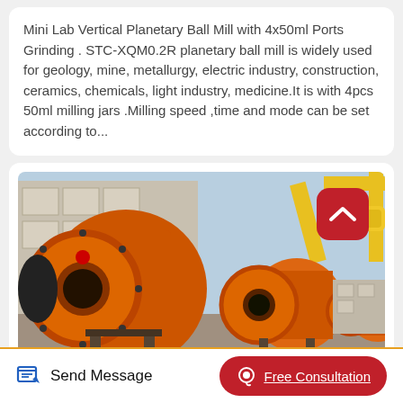Mini Lab Vertical Planetary Ball Mill with 4x50ml Ports Grinding . STC-XQM0.2R planetary ball mill is widely used for geology, mine, metallurgy, electric industry, construction, ceramics, chemicals, light industry, medicine.It is with 4pcs 50ml milling jars .Milling speed ,time and mode can be set according to...
[Figure (photo): Outdoor photo of large orange industrial ball mills with black end caps lined up in a row, mounted on metal frames. Yellow crane boom visible in upper right background. Industrial building in background. Red rounded-square scroll-up button overlay in upper right of image.]
Send Message
Free Consultation